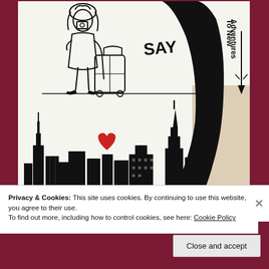[Figure (illustration): A hand-drawn black and white illustration showing a girl with a camera and rolling suitcase on the left, and a large marker pen on the right with hand-written text 'Say' and 'To New Adventures' with an arrow. The lower half shows a New York City skyline (Empire State Building, Chrysler Building) with a red heart drawn in. A black marker pen rests on the drawing.]
Privacy & Cookies: This site uses cookies. By continuing to use this website, you agree to their use.
To find out more, including how to control cookies, see here: Cookie Policy
Close and accept